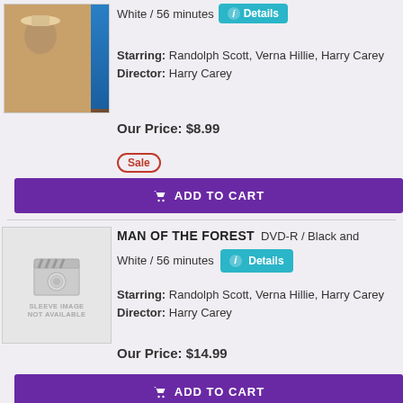[Figure (photo): VHS/DVD cover image of a western movie showing a man in a cowboy hat]
White / 56 minutes  Details
Starring: Randolph Scott, Verna Hillie, Harry Carey
Director: Harry Carey
Our Price: $8.99
Sale
ADD TO CART
[Figure (photo): Placeholder image showing camera icon and text SLEEVE IMAGE NOT AVAILABLE]
MAN OF THE FOREST  DVD-R  / Black and White  / 56 minutes  Details
Starring: Randolph Scott, Verna Hillie, Harry Carey
Director: Harry Carey
Our Price: $14.99
ADD TO CART